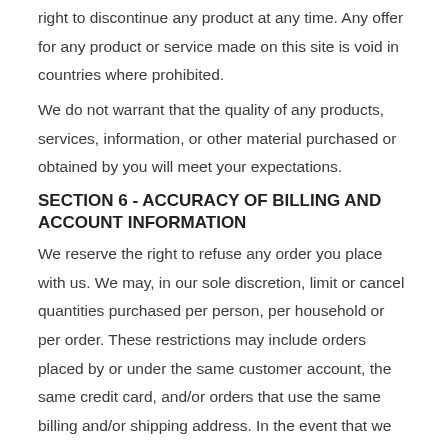right to discontinue any product at any time. Any offer for any product or service made on this site is void in countries where prohibited.
We do not warrant that the quality of any products, services, information, or other material purchased or obtained by you will meet your expectations.
SECTION 6 - ACCURACY OF BILLING AND ACCOUNT INFORMATION
We reserve the right to refuse any order you place with us. We may, in our sole discretion, limit or cancel quantities purchased per person, per household or per order. These restrictions may include orders placed by or under the same customer account, the same credit card, and/or orders that use the same billing and/or shipping address. In the event that we